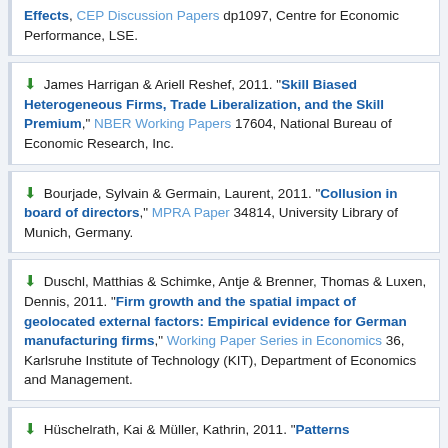Effects, CEP Discussion Papers dp1097, Centre for Economic Performance, LSE.
James Harrigan & Ariell Reshef, 2011. "Skill Biased Heterogeneous Firms, Trade Liberalization, and the Skill Premium," NBER Working Papers 17604, National Bureau of Economic Research, Inc.
Bourjade, Sylvain & Germain, Laurent, 2011. "Collusion in board of directors," MPRA Paper 34814, University Library of Munich, Germany.
Duschl, Matthias & Schimke, Antje & Brenner, Thomas & Luxen, Dennis, 2011. "Firm growth and the spatial impact of geolocated external factors: Empirical evidence for German manufacturing firms," Working Paper Series in Economics 36, Karlsruhe Institute of Technology (KIT), Department of Economics and Management.
Hüschelrath, Kai & Müller, Kathrin, 2011. "Patterns...